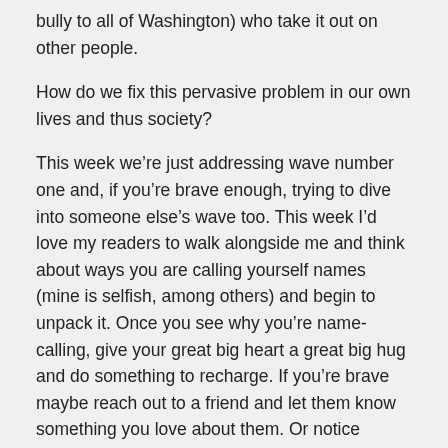bully to all of Washington) who take it out on other people.
How do we fix this pervasive problem in our own lives and thus society?
This week we’re just addressing wave number one and, if you’re brave enough, trying to dive into someone else’s wave too. This week I’d love my readers to walk alongside me and think about ways you are calling yourself names (mine is selfish, among others) and begin to unpack it. Once you see why you’re name-calling, give your great big heart a great big hug and do something to recharge. If you’re brave maybe reach out to a friend and let them know something you love about them. Or notice